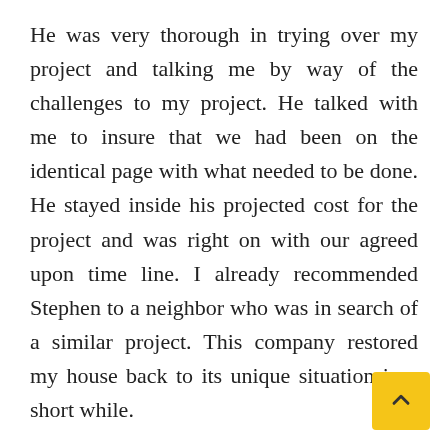He was very thorough in trying over my project and talking me by way of the challenges to my project. He talked with me to insure that we had been on the identical page with what needed to be done. He stayed inside his projected cost for the project and was right on with our agreed upon time line. I already recommended Stephen to a neighbor who was in search of a similar project. This company restored my house back to its unique situation in a short while.
Replacing the siding around your home, front door, or storage door are easy, value-efficient ways to spice up the worth of your own home. Additionally, a contemporary coat of paint easy however efficient approach to spruce up your home. If you can't fairly swing a full reno